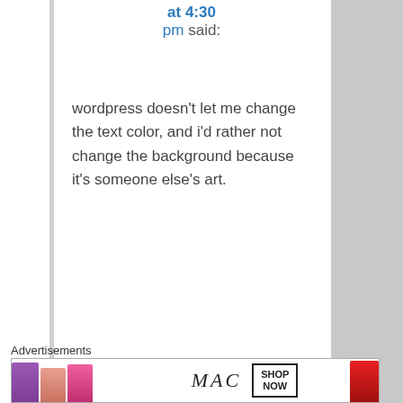at 4:30 pm said:
wordpress doesn't let me change the text color, and i'd rather not change the background because it's someone else's art.
★
Liked by 1 person
[Figure (screenshot): Popup showing luckyotter profile picture and name with 'on May' text]
Advertisements
[Figure (photo): MAC Cosmetics advertisement banner showing lipsticks with SHOP NOW button]